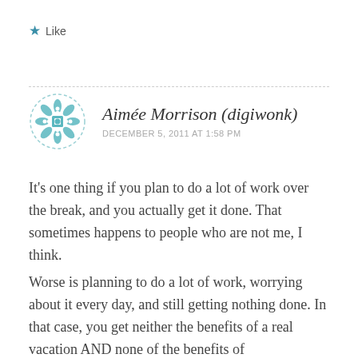★ Like
[Figure (illustration): Teal geometric mandala/flower pattern avatar in a dashed circle border]
Aimée Morrison (digiwonk)
DECEMBER 5, 2011 AT 1:58 PM
It's one thing if you plan to do a lot of work over the break, and you actually get it done. That sometimes happens to people who are not me, I think.
Worse is planning to do a lot of work, worrying about it every day, and still getting nothing done. In that case, you get neither the benefits of a real vacation AND none of the benefits of working hard, while the next point is the doom...